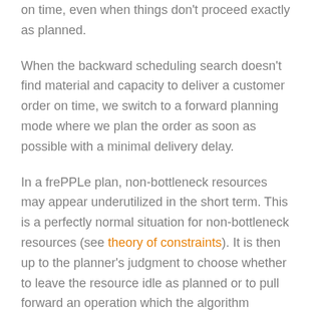on time, even when things don't proceed exactly as planned.
When the backward scheduling search doesn't find material and capacity to deliver a customer order on time, we switch to a forward planning mode where we plan the order as soon as possible with a minimal delivery delay.
In a frePPLe plan, non-bottleneck resources may appear underutilized in the short term. This is a perfectly normal situation for non-bottleneck resources (see theory of constraints). It is then up to the planner's judgment to choose whether to leave the resource idle as planned or to pull forward an operation which the algorithm planned only later.